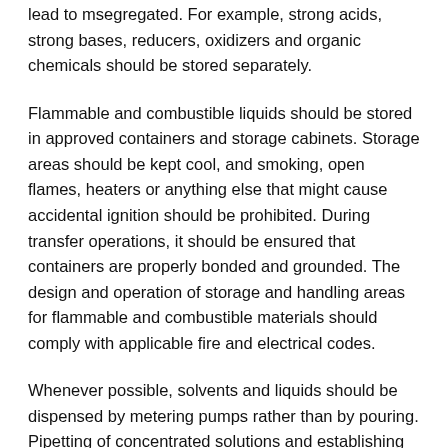lead to m… segregated. For example, strong acids, strong bases, reducers, oxidizers and organic chemicals should be stored separately.
Flammable and combustible liquids should be stored in approved containers and storage cabinets. Storage areas should be kept cool, and smoking, open flames, heaters or anything else that might cause accidental ignition should be prohibited. During transfer operations, it should be ensured that containers are properly bonded and grounded. The design and operation of storage and handling areas for flammable and combustible materials should comply with applicable fire and electrical codes.
Whenever possible, solvents and liquids should be dispensed by metering pumps rather than by pouring. Pipetting of concentrated solutions and establishing siphons by mouth should not be permitted. The use of pre-weighed or pre-measured preparations may simplify operations and reduce the opportunities for accidents. Careful maintenance of all pumps